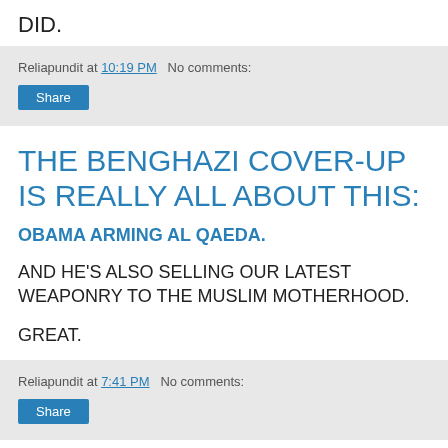DID.
Reliapundit at 10:19 PM   No comments:
THE BENGHAZI COVER-UP IS REALLY ALL ABOUT THIS:
OBAMA ARMING AL QAEDA.
AND HE'S ALSO SELLING OUR LATEST WEAPONRY TO THE MUSLIM MOTHERHOOD.
GREAT.
Reliapundit at 7:41 PM   No comments: